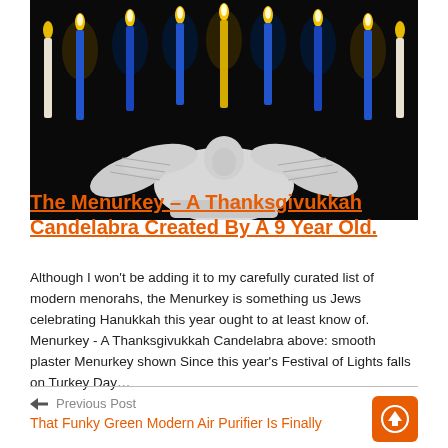[Figure (photo): A turkey-shaped menorah (Menurkey) with nine candles — blue, yellow/gold, and white — lit against a black background. The candelabra base is white plaster shaped like a turkey.]
The Menurkey – A Thanksgivukkah Candelabra Created By A 9 Year Old.
Although I won't be adding it to my carefully curated list of modern menorahs, the Menurkey is something us Jews celebrating Hanukkah this year ought to at least know of. Menurkey - A Thanksgivukkah Candelabra above: smooth plaster Menurkey shown Since this year's Festival of Lights falls on Turkey Day…
← Previous Post
That Funky Green Modern Air Purifier Is Finally